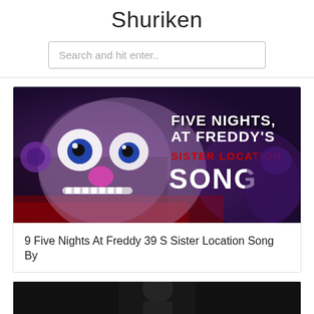Shuriken
Search and hit enter..
[Figure (screenshot): Five Nights at Freddy's Sister Location Song thumbnail showing an animatronic clown character with text 'FIVE NIGHTS AT FREDDY'S SISTER LOCATION SONG']
9 Five Nights At Freddy 39 S Sister Location Song By
[Figure (photo): Partial image of a person, mostly dark/black, bottom of the page]